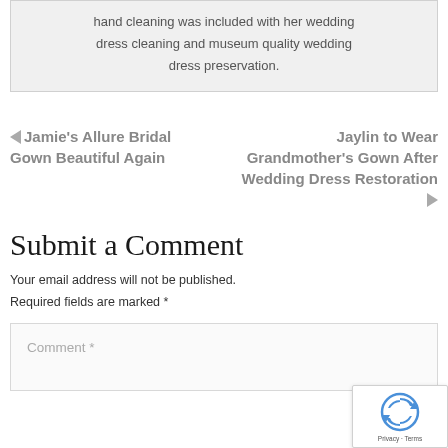hand cleaning was included with her wedding dress cleaning and museum quality wedding dress preservation.
◄ Jamie's Allure Bridal Gown Beautiful Again
Jaylin to Wear Grandmother's Gown After Wedding Dress Restoration ►
Submit a Comment
Your email address will not be published. Required fields are marked *
Comment *